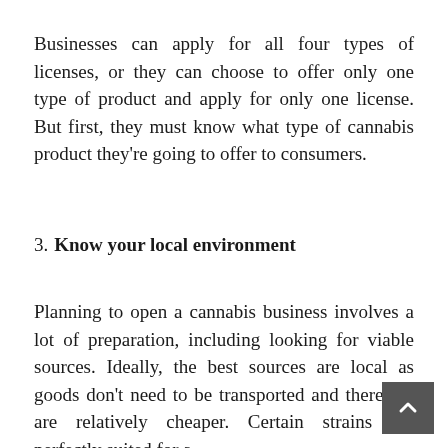Businesses can apply for all four types of licenses, or they can choose to offer only one type of product and apply for only one license. But first, they must know what type of cannabis product they're going to offer to consumers.
3. Know your local environment
Planning to open a cannabis business involves a lot of preparation, including looking for viable sources. Ideally, the best sources are local as goods don't need to be transported and therefore are relatively cheaper. Certain strains are perfectly suited for a